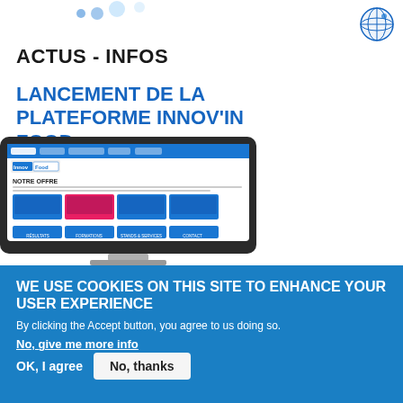[Figure (logo): Small circular blue globe/world logo in top right corner]
ACTUS - INFOS
LANCEMENT DE LA PLATEFORME INNOV'IN FOOD
[Figure (screenshot): Screenshot of Innov'in Food website showing 'NOTRE OFFRE' section with service category tiles including project innovation, creation, support, accompaniment, products, formations, stands and services, and contact]
WE USE COOKIES ON THIS SITE TO ENHANCE YOUR USER EXPERIENCE
By clicking the Accept button, you agree to us doing so.
No, give me more info
OK, I agree
No, thanks